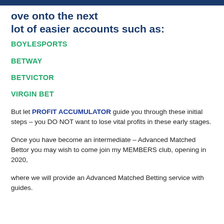ove onto the next lot of easier accounts such as:
BOYLESPORTS
BETWAY
BETVICTOR
VIRGIN BET
But let PROFIT ACCUMULATOR guide you through these initial steps – you DO NOT want to lose vital profits in these early stages.
Once you have become an intermediate – Advanced Matched Bettor you may wish to come join my MEMBERS club, opening in 2020,
where we will provide an Advanced Matched Betting service with guides.